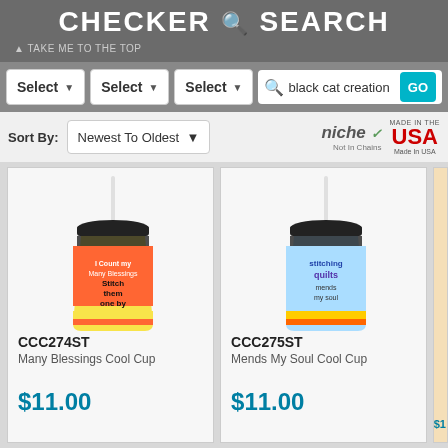CHECKER 🔍 SEARCH
▲ TAKE ME TO THE TOP
Select ▼   Select ▼   Select ▼   black cat creation   GO
Sort By: Newest To Oldest ▼
[Figure (screenshot): Niche Not In Chains / Made In The USA logo]
[Figure (photo): CCC274ST Many Blessings Cool Cup - colorful tumbler cup with straw and black lid]
CCC274ST
Many Blessings Cool Cup
$11.00
[Figure (photo): CCC275ST Mends My Soul Cool Cup - blue tumbler cup with straw and black lid]
CCC275ST
Mends My Soul Cool Cup
$11.00
TB...
Yule...
$1...